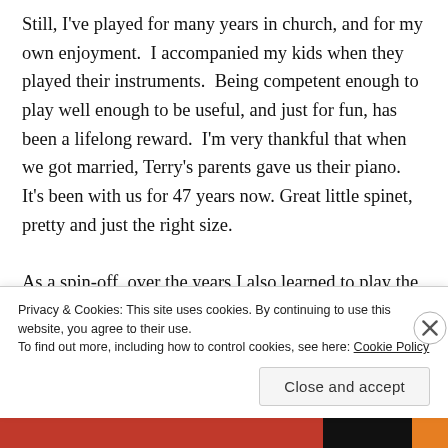Still, I've played for many years in church, and for my own enjoyment.  I accompanied my kids when they played their instruments.  Being competent enough to play well enough to be useful, and just for fun, has been a lifelong reward.  I'm very thankful that when we got married, Terry's parents gave us their piano. It's been with us for 47 years now. Great little spinet,  pretty and just the right size.

As a spin-off, over the years I also learned to play the trumpet ( a little!), the organ, and the violin.  I have my
Privacy & Cookies: This site uses cookies. By continuing to use this website, you agree to their use.
To find out more, including how to control cookies, see here: Cookie Policy
Close and accept